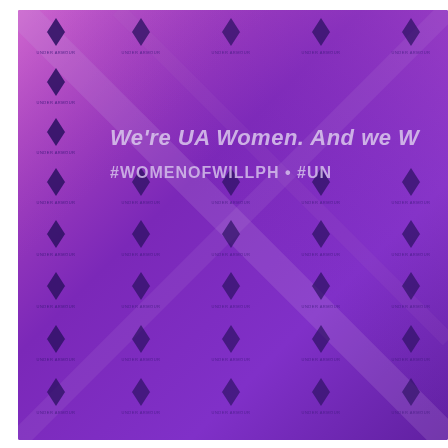[Figure (photo): A purple/violet branded backdrop banner covered in a repeating grid of Under Armour logos (the UA interlocking U and A symbol with 'UNDER ARMOUR' text below each). Overlaid on the banner in light lavender italic text: 'We're UA Women. And we W...' and '#WOMENOFWILLPH • #UN...' The banner has diagonal fabric creases visible across it.]